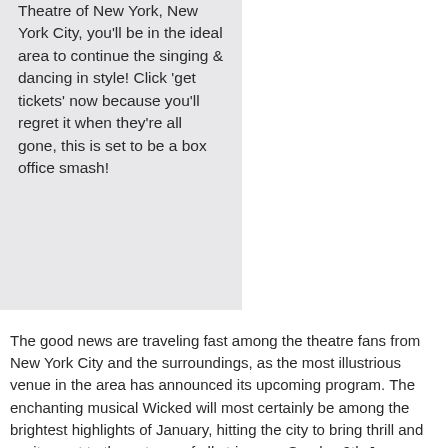Theatre of New York, New York City, you'll be in the ideal area to continue the singing & dancing in style! Click 'get tickets' now because you'll regret it when they're all gone, this is set to be a box office smash!
The good news are traveling fast among the theatre fans from New York City and the surroundings, as the most illustrious venue in the area has announced its upcoming program. The enchanting musical Wicked will most certainly be among the brightest highlights of January, hitting the city to bring thrill and excitement to the patrons of all stripes on Sunday 9th January 2022. That's not the only good news, though, as Gershwin Theatre will keep its tradition of securing a whole list of additional epic perks. The lighting and acoustics are both